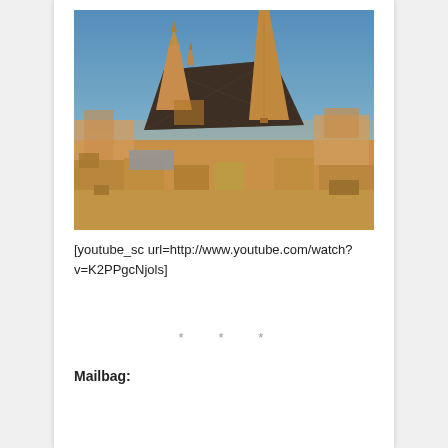[Figure (photo): Aerial view of St. Stephen's Cathedral (Stephansdom) in Vienna, Austria, with its tall Gothic spire dominating the skyline against a blue sky, surrounded by city rooftops.]
[youtube_sc url=http://www.youtube.com/watch?v=K2PPgcNjols]
* * *
Mailbag: